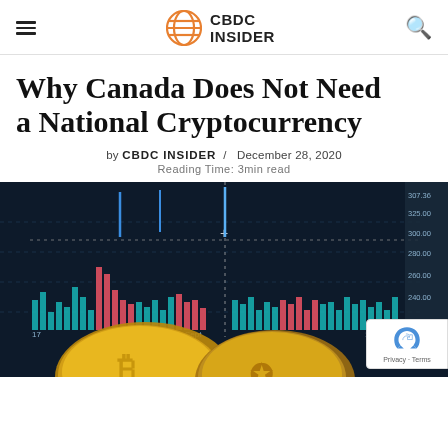CBDC INSIDER
Why Canada Does Not Need a National Cryptocurrency
by CBDC INSIDER / December 28, 2020
Reading Time: 3min read
[Figure (photo): Cryptocurrency trading chart with candlestick/bar chart on dark background showing price movements, with gold cryptocurrency coins (Bitcoin) in the foreground. A reCAPTCHA badge is visible in the bottom right corner.]